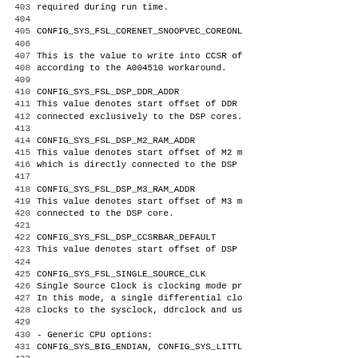Source code / documentation listing, lines 403-435, showing Linux U-Boot CONFIG macros for FSL DSP and CPU options.